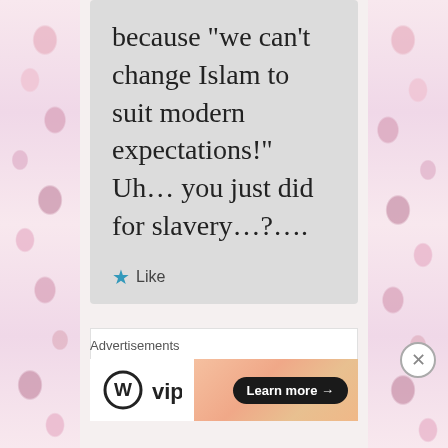because “we can’t change Islam to suit modern expectations!” Uh… you just did for slavery…?….
★ Like
Advertisements
[Figure (logo): WordPress VIP logo - circle W mark with 'vip' text]
[Figure (infographic): Peach/salmon gradient banner with 'Learn more →' button in dark rounded rectangle]